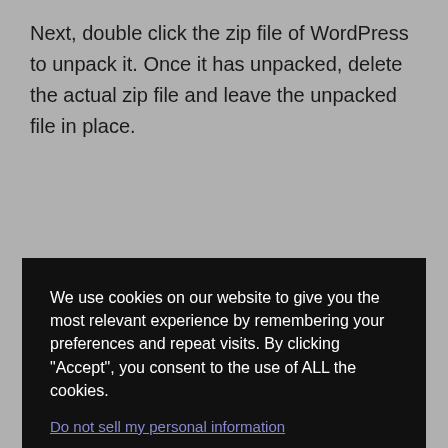Next, double click the zip file of WordPress to unpack it. Once it has unpacked, delete the actual zip file and leave the unpacked file in place.
[Figure (screenshot): Cookie consent modal overlay on a dark background with text: 'We use cookies on our website to give you the most relevant experience by remembering your preferences and repeat visits. By clicking "Accept", you consent to the use of ALL the cookies.' A link 'Do not sell my personal information.' and two buttons: 'Cookie Settings' (grey) and 'Accept' (red).]
Step Seven: Install and configure WordPress
The final stage of this tutorial is to install